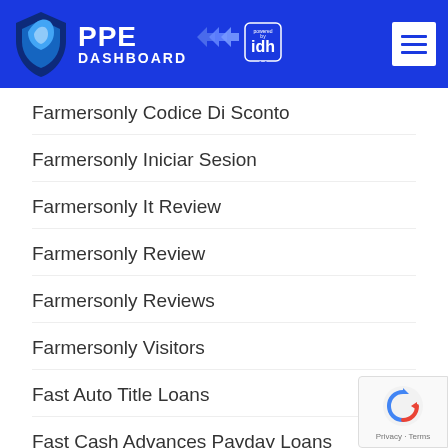PPE DASHBOARD powered by idh
Farmersonly Codice Di Sconto
Farmersonly Iniciar Sesion
Farmersonly It Review
Farmersonly Review
Farmersonly Reviews
Farmersonly Visitors
Fast Auto Title Loans
Fast Cash Advances Payday Loans
Fast Cash Payday Loans